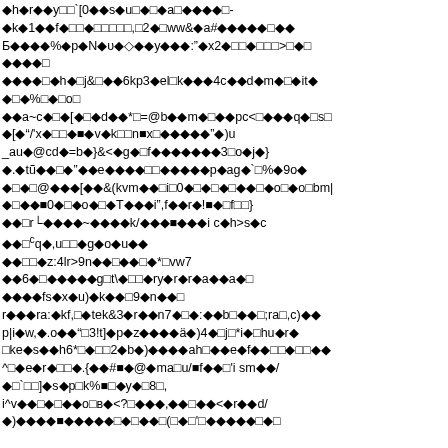corrupted/encoded text block with diamond replacement characters throughout the page